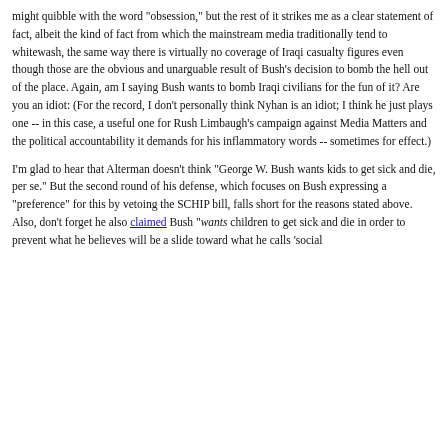might quibble with the word "obsession," but the rest of it strikes me as a clear statement of fact, albeit the kind of fact from which the mainstream media traditionally tend to whitewash, the same way there is virtually no coverage of Iraqi casualty figures even though those are the obvious and unarguable result of Bush's decision to bomb the hell out of the place. Again, am I saying Bush wants to bomb Iraqi civilians for the fun of it? Are you an idiot: (For the record, I don't personally think Nyhan is an idiot; I think he just plays one -- in this case, a useful one for Rush Limbaugh's campaign against Media Matters and the political accountability it demands for his inflammatory words -- sometimes for effect.)
I'm glad to hear that Alterman doesn't think "George W. Bush wants kids to get sick and die, per se." But the second round of his defense, which focuses on Bush expressing a "preference" for this by vetoing the SCHIP bill, falls short for the reasons stated above. Also, don't forget he also claimed Bush "wants children to get sick and die in order to prevent what he believes will be a slide toward what he calls 'social